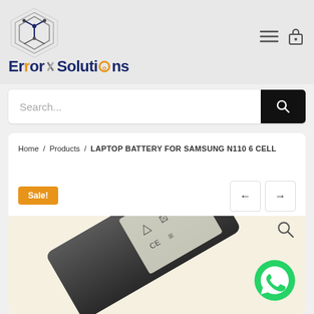[Figure (logo): ErrorX Solutions logo with hexagonal icon and stylized brand name]
[Figure (screenshot): Navigation icons: hamburger menu and lock icon]
Search...
Home / Products / LAPTOP BATTERY FOR SAMSUNG N110 6 CELL
Sale!
[Figure (photo): Laptop battery for Samsung N110 6 Cell product image on beige background]
[Figure (logo): WhatsApp icon (green circle with phone receiver)]